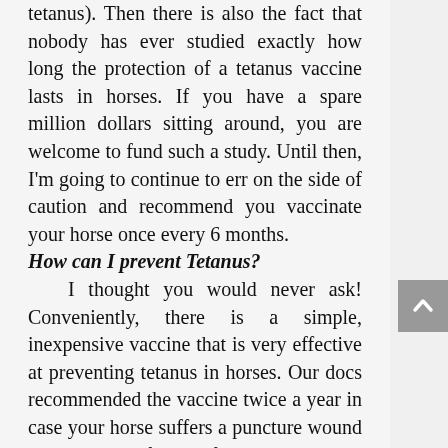tetanus). Then there is also the fact that nobody has ever studied exactly how long the protection of a tetanus vaccine lasts in horses. If you have a spare million dollars sitting around, you are welcome to fund such a study. Until then, I'm going to continue to err on the side of caution and recommend you vaccinate your horse once every 6 months.
How can I prevent Tetanus?
I thought you would never ask! Conveniently, there is a simple, inexpensive vaccine that is very effective at preventing tetanus in horses. Our docs recommended the vaccine twice a year in case your horse suffers a puncture wound or laceration. If we perform a surgery